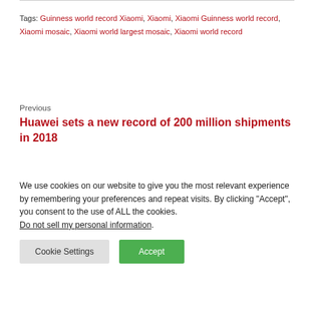Tags: Guinness world record Xiaomi, Xiaomi, Xiaomi Guinness world record, Xiaomi mosaic, Xiaomi world largest mosaic, Xiaomi world record
Previous
Huawei sets a new record of 200 million shipments in 2018
Next
We use cookies on our website to give you the most relevant experience by remembering your preferences and repeat visits. By clicking “Accept”, you consent to the use of ALL the cookies.
Do not sell my personal information.